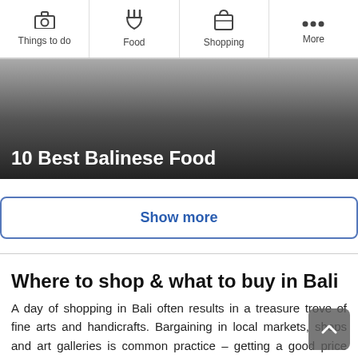Things to do | Food | Shopping | More
[Figure (photo): Dark gradient hero banner with white bold text '10 Best Balinese Food']
10 Best Balinese Food
Show more
Where to shop & what to buy in Bali
A day of shopping in Bali often results in a treasure trove of fine arts and handicrafts. Bargaining in local markets, shops and art galleries is common practice – getting a good price largely depends on your bargaining prowess and good humor. Remember to bring along some cash as